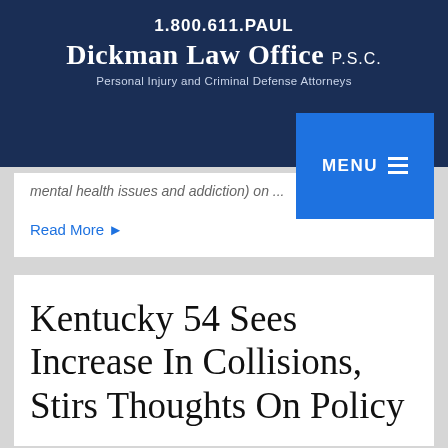1.800.611.PAUL
Dickman Law Office P.S.C.
Personal Injury and Criminal Defense Attorneys
mental health issues and addiction) on ...
Read More ▶
Kentucky 54 Sees Increase In Collisions, Stirs Thoughts On Policy